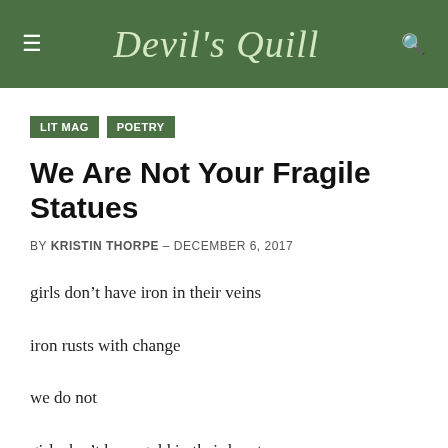Devil's Quill
LIT MAG   POETRY
We Are Not Your Fragile Statues
BY KRISTIN THORPE – DECEMBER 6, 2017
girls don't have iron in their veins
iron rusts with change
we do not
girls don't have gold in their hearts